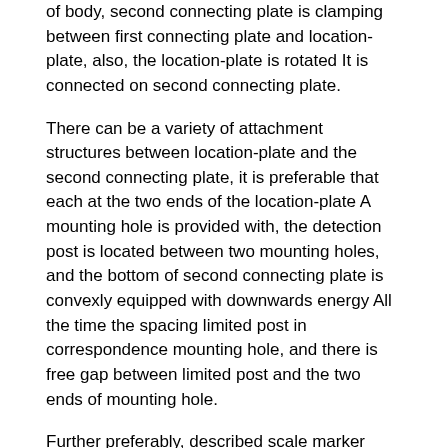of body, second connecting plate is clamping between first connecting plate and location-plate, also, the location-plate is rotated It is connected on second connecting plate.
There can be a variety of attachment structures between location-plate and the second connecting plate, it is preferable that each at the two ends of the location-plate A mounting hole is provided with, the detection post is located between two mounting holes, and the bottom of second connecting plate is convexly equipped with downwards energy All the time the spacing limited post in correspondence mounting hole, and there is free gap between limited post and the two ends of mounting hole.
Further preferably, described scale marker structure is included located at the graduation mark of location-plate bottom surface sidepiece and located at second Connecting plate bottom and the instruction block for pointing to the graduation mark.So, it can be come by indicating sensing of the block on graduation mark Determine rotational angle of the location-plate relative to the second connecting plate.
In order that cubing can be preferably positioned on